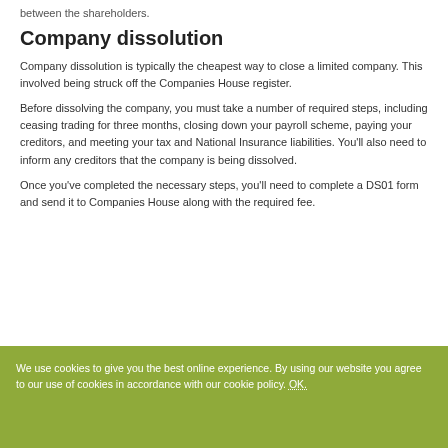between the shareholders.
Company dissolution
Company dissolution is typically the cheapest way to close a limited company. This involved being struck off the Companies House register.
Before dissolving the company, you must take a number of required steps, including ceasing trading for three months, closing down your payroll scheme, paying your creditors, and meeting your tax and National Insurance liabilities. You'll also need to inform any creditors that the company is being dissolved.
Once you've completed the necessary steps, you'll need to complete a DS01 form and send it to Companies House along with the required fee.
We use cookies to give you the best online experience. By using our website you agree to our use of cookies in accordance with our cookie policy. OK.